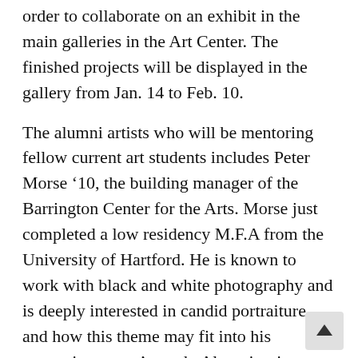order to collaborate on an exhibit in the main galleries in the Art Center. The finished projects will be displayed in the gallery from Jan. 14 to Feb. 10.
The alumni artists who will be mentoring fellow current art students includes Peter Morse '10, the building manager of the Barrington Center for the Arts. Morse just completed a low residency M.F.A from the University of Hartford. He is known to work with black and white photography and is deeply interested in candid portraiture and how this theme may fit into his mentoring group's work. Alumni artist, Claire Bennett-Roll '09, will also be mentoring students.  Bennett-Roll completed her Post-Baccalaureate program at the School of the Museum of Fine Arts in 2014 and finished her MFA at Boston University this past May. She works with recycled salvage materials and creates abstract scul and large-scale architectural installation art. Bennett-